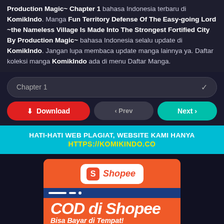Production Magic~ Chapter 1 bahasa Indonesia terbaru di KomikIndo. Manga Fun Territory Defense Of The Easy-going Lord ~the Nameless Village Is Made Into The Strongest Fortified City By Production Magic~ bahasa Indonesia selalu update di KomikIndo. Jangan lupa membaca update manga lainnya ya. Daftar koleksi manga KomikIndo ada di menu Daftar Manga.
Chapter 1
Download | ‹ Prev | Next ›
HATI-HATI WEB PLAGIAT, WEBSITE KAMI HANYA
HTTPS://KOMIKINDO.CO
[Figure (illustration): Shopee advertisement banner with orange background, Shopee logo, 'COD di Shopee', 'Bisa Bayar di Tempat!', 'KHUSUS PENGGUNA BARU', and 'HARGA' badge]